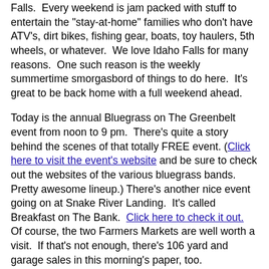Falls.  Every weekend is jam packed with stuff to entertain the "stay-at-home" families who don't have ATV's, dirt bikes, fishing gear, boats, toy haulers, 5th wheels, or whatever.  We love Idaho Falls for many reasons.  One such reason is the weekly summertime smorgasbord of things to do here.  It's great to be back home with a full weekend ahead.
Today is the annual Bluegrass on The Greenbelt event from noon to 9 pm.  There's quite a story behind the scenes of that totally FREE event. (Click here to visit the event's website and be sure to check out the websites of the various bluegrass bands.  Pretty awesome lineup.) There's another nice event going on at Snake River Landing.  It's called Breakfast on The Bank.  Click here to check it out.  Of course, the two Farmers Markets are well worth a visit.  If that's not enough, there's 106 yard and garage sales in this morning's paper, too.
This past week was our first true opportunity to test out the Monday thru Friday Camping Plan.  We were sorely tempted to stay near Dubois, WY for another 2-3 days.  We actually talked ourselves into staying there during Thursday night's...